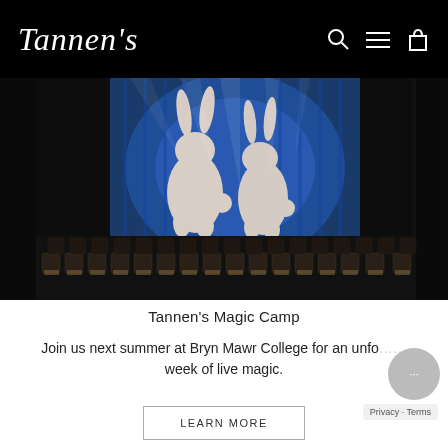Tannen's
[Figure (photo): A dark stage/auditorium with rows of empty chairs, a glowing blue curtain backdrop featuring two white rabbit silhouettes, and spotlights from above. A red banner is visible on the left side.]
Tannen's Magic Camp
Join us next summer at Bryn Mawr College for an unfo... week of live magic.
LEARN MORE